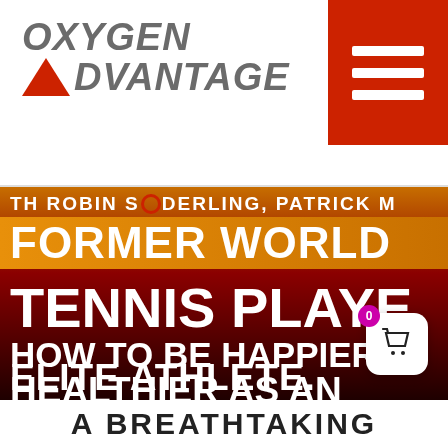[Figure (logo): Oxygen Advantage logo: italic bold text 'OXYGEN' on top line, red triangle followed by 'DVANTAGE' on second line, in grey italic bold text]
[Figure (screenshot): Mobile website screenshot showing a promotional banner for a podcast/interview with Robin Soderling, Patrick M. Text reads: FORMER WORLD TENNIS PLAYE[R] HOW TO BE HAPPIER HEALTHIER AS AN ELITE ATHLETE. Orange and dark red gradient background with large white bold uppercase text.]
A BREATHTAKING